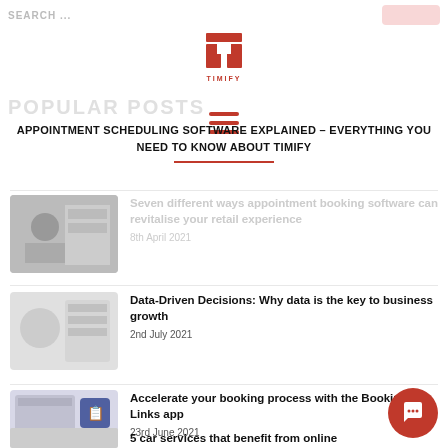TIMIFY
[Figure (logo): TIMIFY red logo mark with T shape and TIMIFY text below]
APPOINTMENT SCHEDULING SOFTWARE EXPLAINED – EVERYTHING YOU NEED TO KNOW ABOUT TIMIFY
Seven different ways appointment booking software can revitalise your retail experience — 8th April 2021
Data-Driven Decisions: Why data is the key to business growth — 2nd July 2021
Accelerate your booking process with the Booking Links app — 23rd June 2021
5 car services that benefit from online